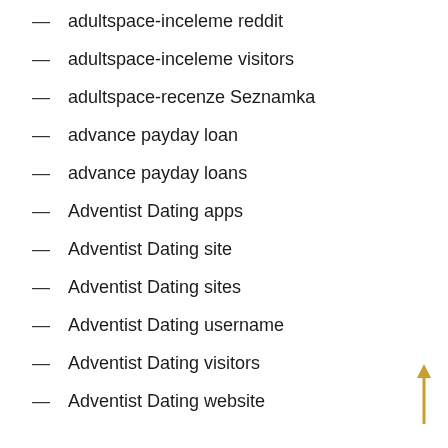adultspace-inceleme reddit
adultspace-inceleme visitors
adultspace-recenze Seznamka
advance payday loan
advance payday loans
Adventist Dating apps
Adventist Dating site
Adventist Dating sites
Adventist Dating username
Adventist Dating visitors
Adventist Dating website